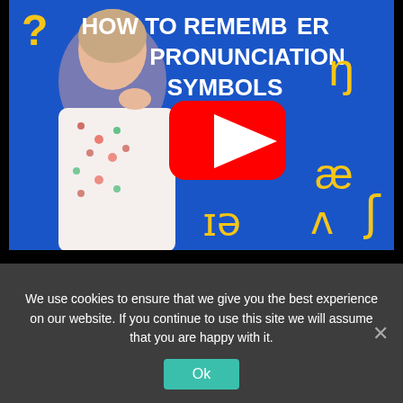[Figure (screenshot): YouTube video thumbnail showing a woman with a blue background. Title reads 'HOW TO REMEMBER PRONUNCIATION SYMBOLS' with IPA symbols (ŋ, ə, æ, ʃ, ʌ, ɪə, ɜ) in yellow and a YouTube play button overlay.]
We use cookies to ensure that we give you the best experience on our website. If you continue to use this site we will assume that you are happy with it.